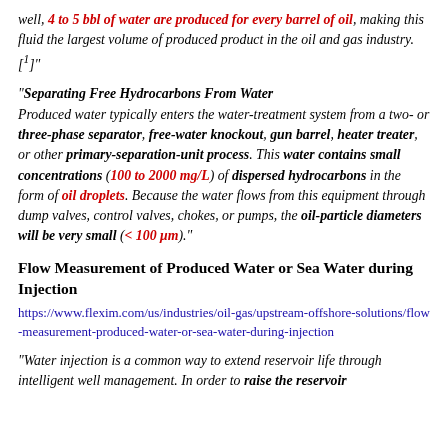well, 4 to 5 bbl of water are produced for every barrel of oil, making this fluid the largest volume of produced product in the oil and gas industry.[1]"
"Separating Free Hydrocarbons From Water Produced water typically enters the water-treatment system from a two- or three-phase separator, free-water knockout, gun barrel, heater treater, or other primary-separation-unit process. This water contains small concentrations (100 to 2000 mg/L) of dispersed hydrocarbons in the form of oil droplets. Because the water flows from this equipment through dump valves, control valves, chokes, or pumps, the oil-particle diameters will be very small (< 100 μm)."
Flow Measurement of Produced Water or Sea Water during Injection
https://www.flexim.com/us/industries/oil-gas/upstream-offshore-solutions/flow-measurement-produced-water-or-sea-water-during-injection
"Water injection is a common way to extend reservoir life through intelligent well management. In order to raise the reservoir